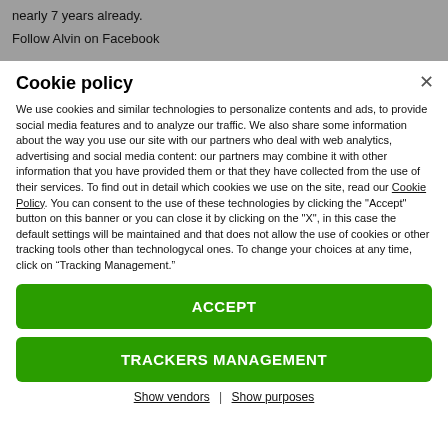nearly 7 years already.
Follow Alvin on Facebook
Cookie policy
We use cookies and similar technologies to personalize contents and ads, to provide social media features and to analyze our traffic. We also share some information about the way you use our site with our partners who deal with web analytics, advertising and social media content: our partners may combine it with other information that you have provided them or that they have collected from the use of their services. To find out in detail which cookies we use on the site, read our Cookie Policy. You can consent to the use of these technologies by clicking the "Accept" button on this banner or you can close it by clicking on the "X", in this case the default settings will be maintained and that does not allow the use of cookies or other tracking tools other than technologycal ones. To change your choices at any time, click on “Tracking Management.”
ACCEPT
TRACKERS MANAGEMENT
Show vendors | Show purposes